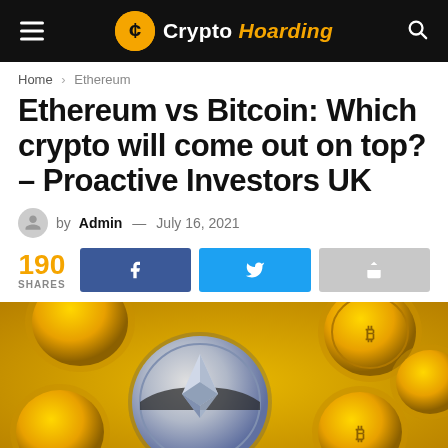Crypto Hoarding
Home > Ethereum
Ethereum vs Bitcoin: Which crypto will come out on top? – Proactive Investors UK
by Admin — July 16, 2021
190 SHARES
[Figure (photo): Ethereum and Bitcoin gold coins close-up photo]